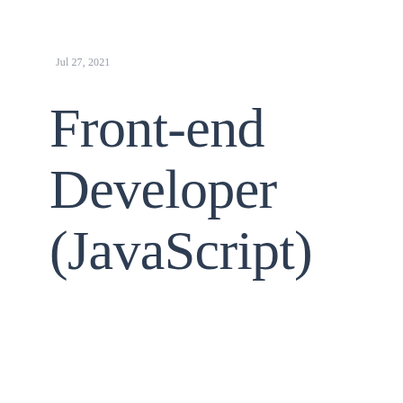Jul 27, 2021
Front-end Developer (JavaScript)